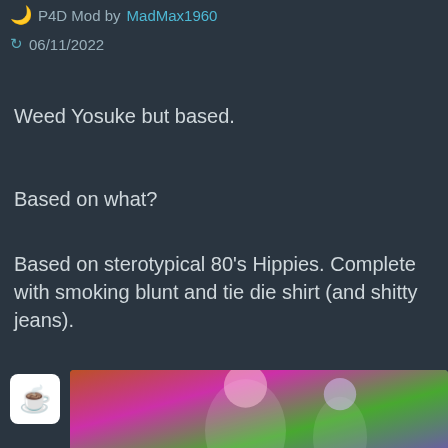P4D Mod by MadMax1960
06/11/2022
Weed Yosuke but based.
Based on what?
Based on sterotypical 80's Hippies. Complete with smoking blunt and tie die shirt (and shitty jeans).
Include ...
Skin
[Figure (screenshot): Download button (blue rounded rectangle) with download icon and text 'Download']
[Figure (illustration): Ko-fi icon (white rounded square with red heart and coffee cup) and a colorful anime-style thumbnail image at the bottom of the page]